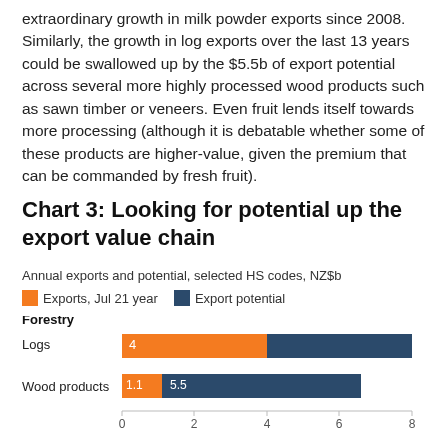extraordinary growth in milk powder exports since 2008. Similarly, the growth in log exports over the last 13 years could be swallowed up by the $5.5b of export potential across several more highly processed wood products such as sawn timber or veneers. Even fruit lends itself towards more processing (although it is debatable whether some of these products are higher-value, given the premium that can be commanded by fresh fruit).
Chart 3: Looking for potential up the export value chain
Annual exports and potential, selected HS codes, NZ$b
[Figure (grouped-bar-chart): Chart 3: Looking for potential up the export value chain]